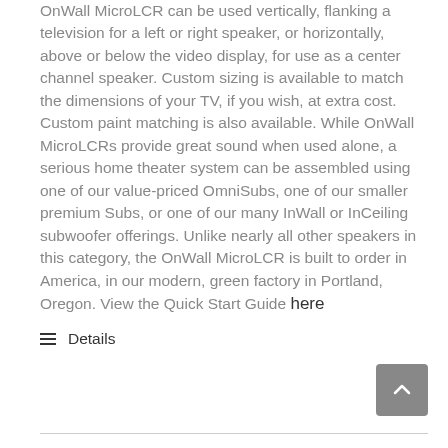OnWall MicroLCR can be used vertically, flanking a television for a left or right speaker, or horizontally, above or below the video display, for use as a center channel speaker. Custom sizing is available to match the dimensions of your TV, if you wish, at extra cost. Custom paint matching is also available. While OnWall MicroLCRs provide great sound when used alone, a serious home theater system can be assembled using one of our value-priced OmniSubs, one of our smaller premium Subs, or one of our many InWall or InCeiling subwoofer offerings. Unlike nearly all other speakers in this category, the OnWall MicroLCR is built to order in America, in our modern, green factory in Portland, Oregon. View the Quick Start Guide here
Details